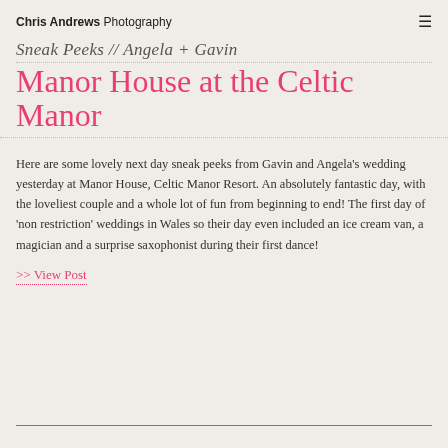Chris Andrews Photography
Sneak Peeks // Angela + Gavin Manor House at the Celtic Manor
Here are some lovely next day sneak peeks from Gavin and Angela's wedding yesterday at Manor House, Celtic Manor Resort. An absolutely fantastic day, with the loveliest couple and a whole lot of fun from beginning to end! The first day of 'non restriction' weddings in Wales so their day even included an ice cream van, a magician and a surprise saxophonist during their first dance!
>> View Post